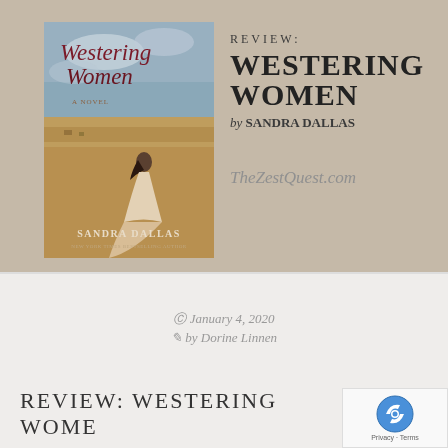[Figure (illustration): Book cover of 'Westering Women' by Sandra Dallas — a woman in a white dress standing in a prairie landscape with stormy sky]
REVIEW: WESTERING WOMEN by SANDRA DALLAS
TheZestQuest.com
January 4, 2020
by Dorine Linnen
REVIEW: WESTERING WOMEN